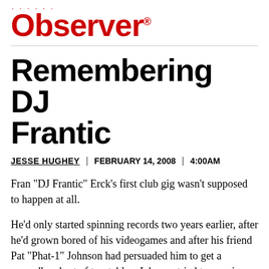Dallas Observer
Remembering DJ Frantic
JESSE HUGHEY | FEBRUARY 14, 2008 | 4:00AM
Fran "DJ Frantic" Erck's first club gig wasn't supposed to happen at all.
He'd only started spinning records two years earlier, after he'd grown bored of his videogames and after his friend Pat "Phat-1" Johnson had persuaded him to get a secondhand set of turntables. Johnson tried to convince the promoter at the Sand Bar to let him share his set with the newcomer, but the skeptical promoter was leery